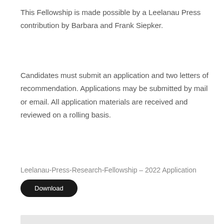This Fellowship is made possible by a Leelanau Press contribution by Barbara and Frank Siepker.
Candidates must submit an application and two letters of recommendation. Applications may be submitted by mail or email. All application materials are received and reviewed on a rolling basis.
Leelanau-Press-Research-Fellowship – 2022 Application Download